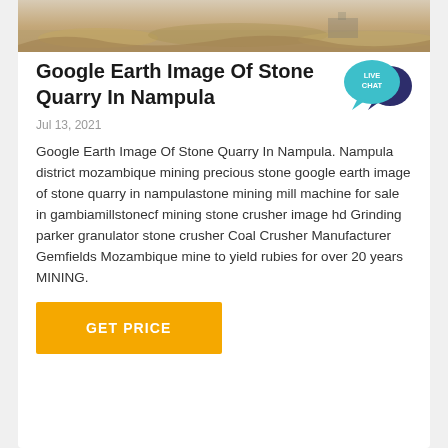[Figure (photo): Aerial or ground-level photo of a stone quarry site with sandy/rocky terrain]
Google Earth Image Of Stone Quarry In Nampula
[Figure (other): Live Chat speech bubble badge in teal/navy blue colors with text 'LIVE CHAT']
Jul 13, 2021
Google Earth Image Of Stone Quarry In Nampula. Nampula district mozambique mining precious stone google earth image of stone quarry in nampulastone mining mill machine for sale in gambiamillstonecf mining stone crusher image hd Grinding parker granulator stone crusher Coal Crusher Manufacturer Gemfields Mozambique mine to yield rubies for over 20 years MINING.
GET PRICE